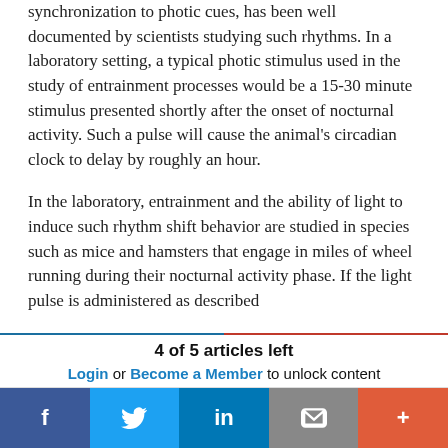synchronization to photic cues, has been well documented by scientists studying such rhythms. In a laboratory setting, a typical photic stimulus used in the study of entrainment processes would be a 15-30 minute stimulus presented shortly after the onset of nocturnal activity. Such a pulse will cause the animal's circadian clock to delay by roughly an hour.
In the laboratory, entrainment and the ability of light to induce such rhythm shift behavior are studied in species such as mice and hamsters that engage in miles of wheel running during their nocturnal activity phase. If the light pulse is administered as described
4 of 5 articles left
Login or Become a Member to unlock content